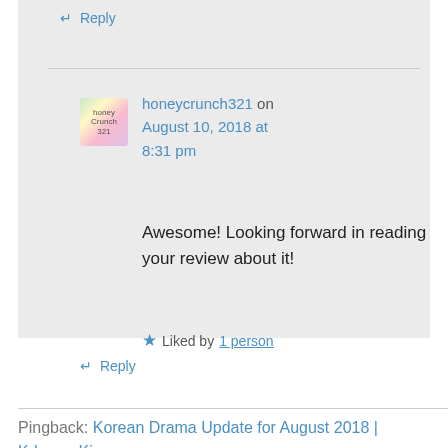↵ Reply
honeycrunch321 on August 10, 2018 at 8:31 pm
Awesome! Looking forward in reading your review about it!
★ Liked by 1 person
↵ Reply
Pingback: Korean Drama Update for August 2018 | Kdrama Kisses